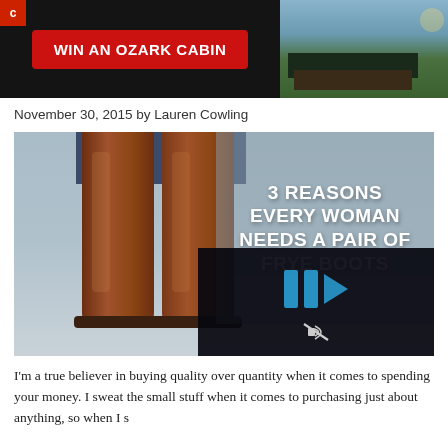[Figure (photo): Banner advertisement with red button reading 'WIN AN OZARK CABIN' on dark background with cabin photo on right]
November 30, 2015 by Lauren Cowling
[Figure (photo): Article hero image showing brown leather knee-high Frye boots worn with jeans, with text overlay '3 REASONS EVERY WOMAN NEEDS A PAIR OF FRYE BOOTS', and a video player overlay in the bottom right corner]
I'm a true believer in buying quality over quantity when it comes to spending your money. I sweat the small stuff when it comes to purchasing just about anything, so when I s